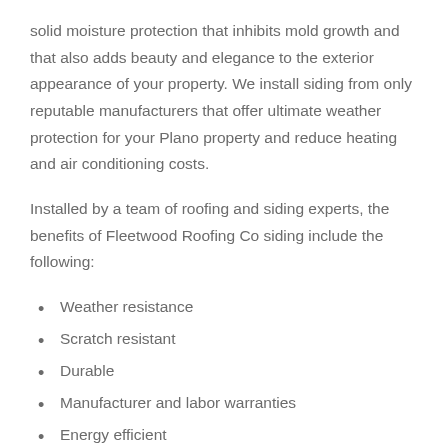solid moisture protection that inhibits mold growth and that also adds beauty and elegance to the exterior appearance of your property. We install siding from only reputable manufacturers that offer ultimate weather protection for your Plano property and reduce heating and air conditioning costs.
Installed by a team of roofing and siding experts, the benefits of Fleetwood Roofing Co siding include the following:
Weather resistance
Scratch resistant
Durable
Manufacturer and labor warranties
Energy efficient
Easy to clean and maintain
Long-lasting performance
Available in a wide range of styles, colors, textures and